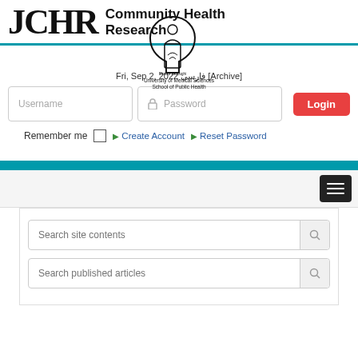JCHR Community Health Research
Fri, Sep 2, 2022 [Archive]
[Figure (logo): Shahid Sadoughi University of Medical Sciences School of Public Health logo — ornate arch/tree emblem]
Username field, Password field, Login button
Remember me  Create Account  Reset Password
Search site contents
Search published articles